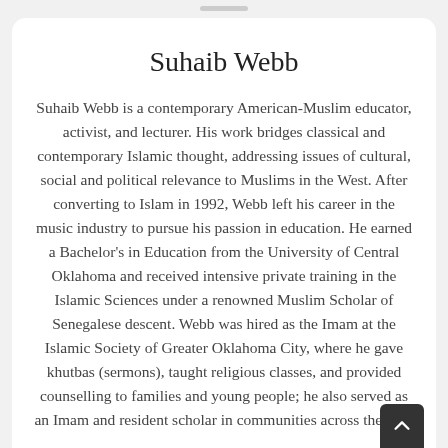Suhaib Webb
Suhaib Webb is a contemporary American-Muslim educator, activist, and lecturer. His work bridges classical and contemporary Islamic thought, addressing issues of cultural, social and political relevance to Muslims in the West. After converting to Islam in 1992, Webb left his career in the music industry to pursue his passion in education. He earned a Bachelor’s in Education from the University of Central Oklahoma and received intensive private training in the Islamic Sciences under a renowned Muslim Scholar of Senegalese descent. Webb was hired as the Imam at the Islamic Society of Greater Oklahoma City, where he gave khutbas (sermons), taught religious classes, and provided counselling to families and young people; he also served as an Imam and resident scholar in communities across the U.S.